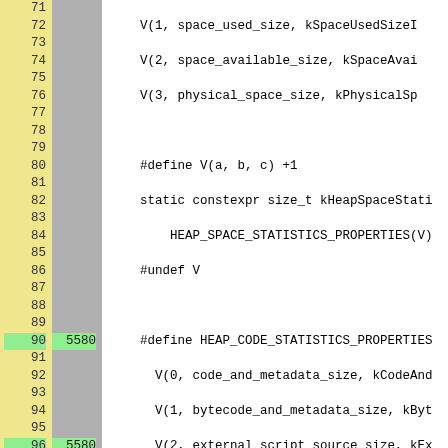[Figure (screenshot): Source code viewer showing C++ code lines 71-96 with line numbers in yellow column, coverage counts in gray column, and code in white area. Lines 90 and 96 are highlighted green indicating coverage hits with count 5580.]